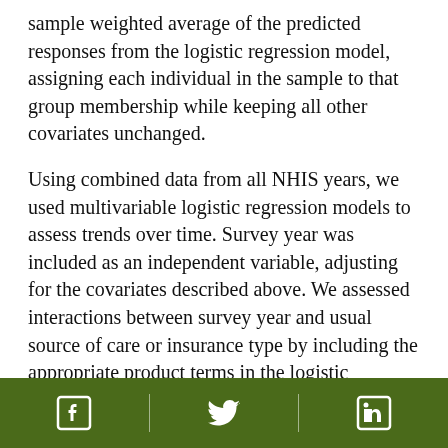sample weighted average of the predicted responses from the logistic regression model, assigning each individual in the sample to that group membership while keeping all other covariates unchanged.
Using combined data from all NHIS years, we used multivariable logistic regression models to assess trends over time. Survey year was included as an independent variable, adjusting for the covariates described above. We assessed interactions between survey year and usual source of care or insurance type by including the appropriate product terms in the logistic regression models. We dropped nonsignificant interactions from the final model by using backward elimination (setting 2-sided α = 0.05). We present figures depicting the time trends as
[Facebook] [Twitter] [LinkedIn]